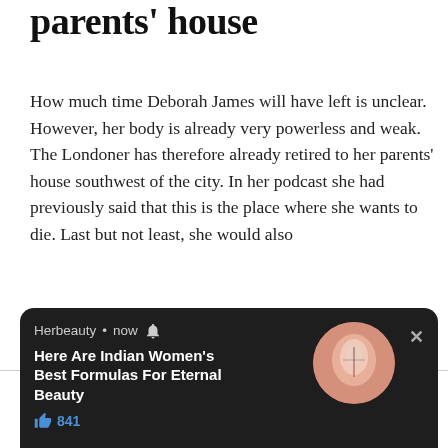parents' house
How much time Deborah James will have left is unclear. However, her body is already very powerless and weak. The Londoner has therefore already retired to her parents' house southwest of the city. In her podcast she had previously said that this is the place where she wants to die. Last but not least, she would also
We use cookies on our website to give you the most relevant experience by remembering your preferences and repeat visits. By clicking “Accept All” Ho pro
[Figure (screenshot): A dark popup notification from Herbeauty showing 'Here Are Indian Women’s Best Formulas For Eternal Beauty' with a like count of 841, a circular image, and a close button.]